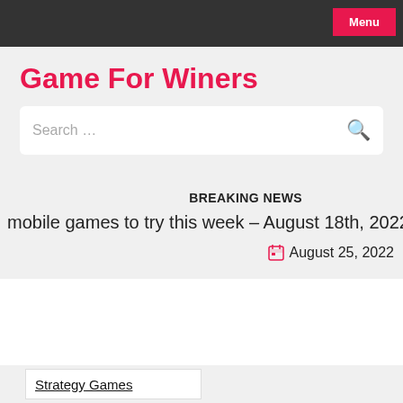Menu
Game For Winers
Search …
BREAKING NEWS
mobile games to try this week – August 18th, 2022  |  Ninter
August 25, 2022
Strategy Games